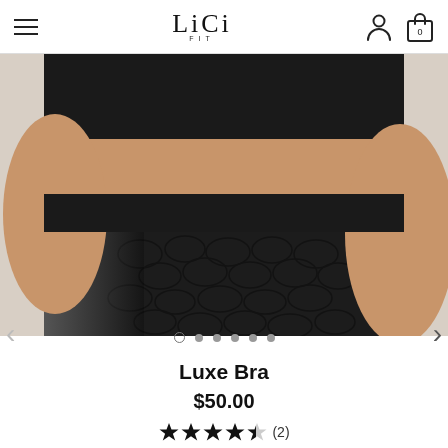LiCi FIT — navigation header with hamburger menu, logo, user icon, and cart (0)
[Figure (photo): Close-up photo of a plus-size model wearing black textured/croc-print high-waist leggings and a black crop bra top against a light background]
Luxe Bra
$50.00
★★★★½ (2)